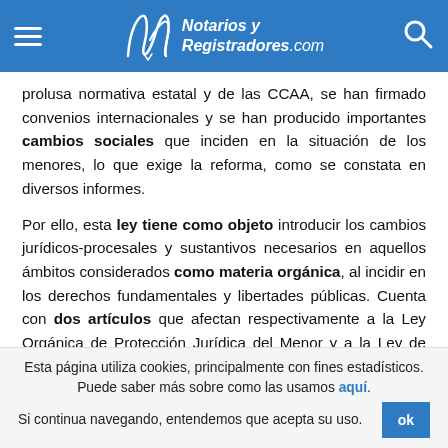Notarios y Registradores.com
prolusa normativa estatal y de las CCAA, se han firmado convenios internacionales y se han producido importantes cambios sociales que inciden en la situación de los menores, lo que exige la reforma, como se constata en diversos informes.
Por ello, esta ley tiene como objeto introducir los cambios jurídicos-procesales y sustantivos necesarios en aquellos ámbitos considerados como materia orgánica, al incidir en los derechos fundamentales y libertades públicas. Cuenta con dos artículos que afectan respectivamente a la Ley Orgánica de Protección Jurídica del Menor y a la Ley de Enjuiciamiento Civil.
Esta página utiliza cookies, principalmente con fines estadísticos. Puede saber más sobre como las usamos aquí. Si continua navegando, entendemos que acepta su uso.